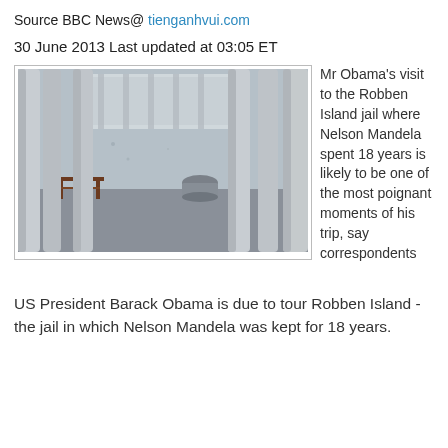Source BBC News@ tienganhvui.com
30 June 2013 Last updated at 03:05 ET
[Figure (photo): Photo of a prison cell interior viewed through vertical bars, showing a small wooden stool and a metal bucket, with gray concrete walls and floor. Taken at Robben Island jail.]
Mr Obama's visit to the Robben Island jail where Nelson Mandela spent 18 years is likely to be one of the most poignant moments of his trip, say correspondents
US President Barack Obama is due to tour Robben Island - the jail in which Nelson Mandela was kept for 18 years.